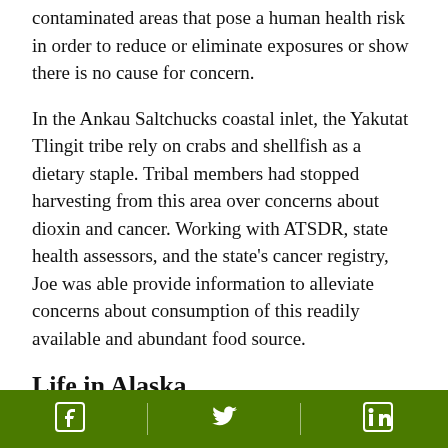contaminated areas that pose a human health risk in order to reduce or eliminate exposures or show there is no cause for concern.
In the Ankau Saltchucks coastal inlet, the Yakutat Tlingit tribe rely on crabs and shellfish as a dietary staple. Tribal members had stopped harvesting from this area over concerns about dioxin and cancer. Working with ATSDR, state health assessors, and the state's cancer registry, Joe was able provide information to alleviate concerns about consumption of this readily available and abundant food source.
Life in Alaska
Having lived and worked in Alaska for 20 years, Joe admits that the winters are tough: long, cold, and
Social media links: Facebook, Twitter, LinkedIn